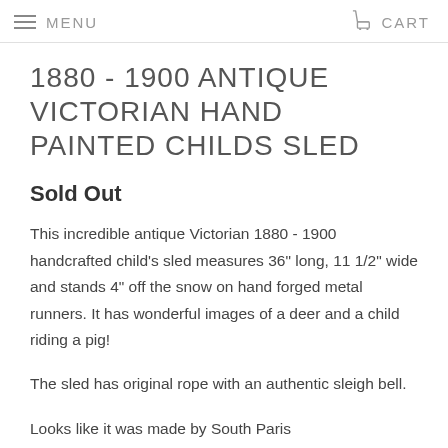MENU  CART
1880 - 1900 ANTIQUE VICTORIAN HAND PAINTED CHILDS SLED
Sold Out
This incredible antique Victorian 1880 - 1900 handcrafted child's sled measures 36" long, 11 1/2" wide and stands 4" off the snow on hand forged metal runners. It has wonderful images of a deer and a child riding a pig!
The sled has original rope with an authentic sleigh bell.
Looks like it was made by South Paris